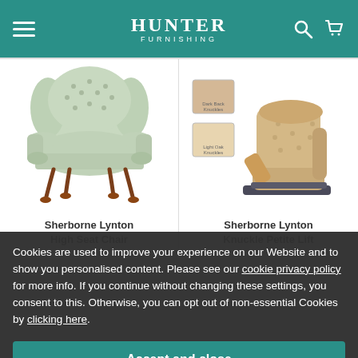HUNTER FURNISHING
[Figure (photo): Green upholstered wingback high seat chair with wooden legs - Sherborne Lynton High Seat Chair]
[Figure (photo): Beige tufted recliner lift chair with two fabric swatch thumbnails - Sherborne Lynton Knuckle Petite Lift]
Sherborne Lynton High Seat Chair
Sherborne Lynton Knuckle Petite Lift
Cookies are used to improve your experience on our Website and to show you personalised content. Please see our cookie privacy policy for more info. If you continue without changing these settings, you consent to this. Otherwise, you can opt out of non-essential Cookies by clicking here.
Accept and close